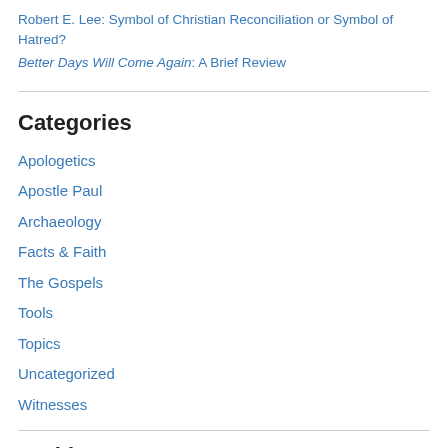Robert E. Lee: Symbol of Christian Reconciliation or Symbol of Hatred?
Better Days Will Come Again: A Brief Review
Categories
Apologetics
Apostle Paul
Archaeology
Facts & Faith
The Gospels
Tools
Topics
Uncategorized
Witnesses
Archives
August 2022